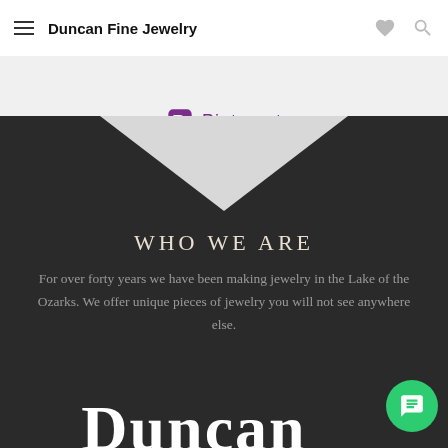Duncan Fine Jewelry
[Figure (logo): Pinterest logo/link with Pinterest icon and text 'Pinterest']
[Figure (illustration): Dark chevron/arrow pointing downward overlapping the light gray and dark sections]
WHO WE ARE
For over forty years we have been making jewelry in the Lake of the Ozarks. We offer unique pieces of jewelry you will not see anywhere else.
Duncan